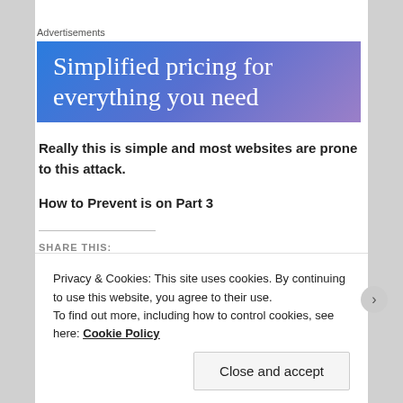Advertisements
[Figure (illustration): Advertisement banner with gradient blue-purple background showing text: 'Simplified pricing for everything you need']
Really this is simple and most websites are prone to this attack.
How to Prevent is on Part 3
SHARE THIS:
Privacy & Cookies: This site uses cookies. By continuing to use this website, you agree to their use.
To find out more, including how to control cookies, see here: Cookie Policy